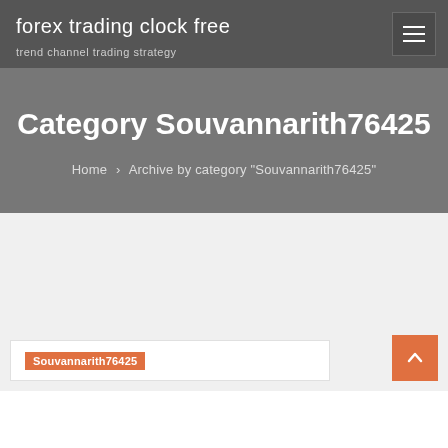forex trading clock free
trend channel trading strategy
Category Souvannarith76425
Home › Archive by category "Souvannarith76425"
Souvannarith76425